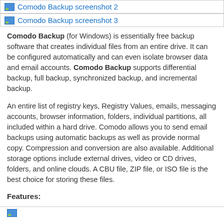[Figure (screenshot): Comodo Backup screenshot 2 link row in a table]
[Figure (screenshot): Comodo Backup screenshot 3 link row in a table]
Comodo Backup (for Windows) is essentially free backup software that creates individual files from an entire drive. It can be configured automatically and can even isolate browser data and email accounts. Comodo Backup supports differential backup, full backup, synchronized backup, and incremental backup.
An entire list of registry keys, Registry Values, emails, messaging accounts, browser information, folders, individual partitions, all included within a hard drive. Comodo allows you to send email backups using automatic backups as well as provide normal copy. Compression and conversion are also available. Additional storage options include external drives, video or CD drives, folders, and online clouds. A CBU file, ZIP file, or ISO file is the best choice for storing these files.
Features:
[Figure (screenshot): Partial screenshot row at bottom of page]